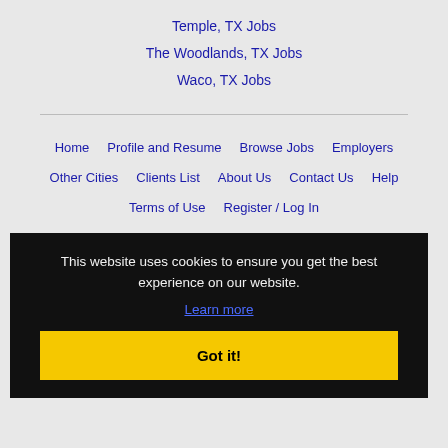Temple, TX Jobs
The Woodlands, TX Jobs
Waco, TX Jobs
Home
Profile and Resume
Browse Jobs
Employers
Other Cities
Clients List
About Us
Contact Us
Help
Terms of Use
Register / Log In
This website uses cookies to ensure you get the best experience on our website.
Learn more
Got it!